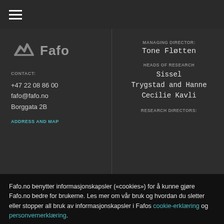≡ (hamburger menu)
[Figure (logo): Fafo logo with stylized checkmark icon and 'Fafo' text]
CONTACT:
+47 22 08 86 00
fafo@fafo.no
Borggata 2B
ADDRESS AND MAP
MANAGING DIRECTOR:
Tone Fløtten
HEADS OF RESEARCH
Sissel Trygstad and Hanne Cecilie Kavli
RESEARCH DIRECTORS:
Fafo.no benytter informasjonskapsler («cookies») for å kunne gjøre Fafo.no bedre for brukerne. Les mer om vår bruk og hvordan du sletter eller stopper all bruk av informasjonskapsler i Fafos cookie-erklæring og personvernerklæring.
Godtar ikke
Godta bruk av informasjonskapsler